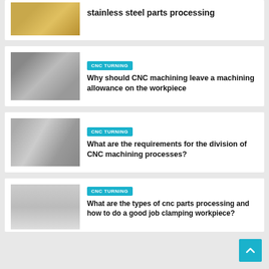[Figure (photo): Gold/brass screws and hardware parts]
stainless steel parts processing
[Figure (photo): CNC turning tools, metallic shiny]
CNC TURNING
Why should CNC machining leave a machining allowance on the workpiece
[Figure (photo): CNC machined metal parts on paper]
CNC TURNING
What are the requirements for the division of CNC machining processes?
[Figure (photo): Metal cylindrical bar part]
CNC TURNING
What are the types of cnc parts processing and how to do a good job clamping workpiece?